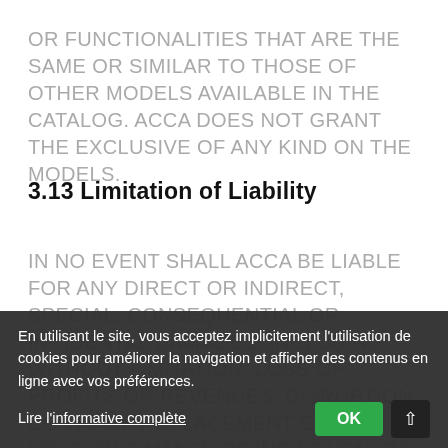OR FUNCTIONALITIES THAT ARE THE SAME OR SIMILAR TO THOSE OF OTHER MODELS AVAILABLE IN THE CATALOG. ACCA DOES NOT GRANT THE EXCLUSIVE OF ANY KIND ON THE MODELS.
3.13 Limitation of Liability
IN NO EVENT SHALL ACCA BE LIABLE FOR ANY DIRECT OR INDIRECT, SPECIAL, CONSEQUENTIAL OR INCIDENTAL DAMAGES, INCLUDING, WITHOUT LIMITATION, LOSS OF PROFITS OR REVENUES, DISRUPTION, COSTS OF REPLACEMENT GOODS, LOSS OR DAMAGE OF INCIDENTAL 'TO USE OR DIS... ...LITY THROUGH BREACH OF CONTRACT, ALLEGEDLY PRODUCT OR SERVICE, OR DAMAGES ARISING FROM US... THE POSSIBILITY OF SUCH DAMAGES...
En utilisant le site, vous acceptez implicitement l'utilisation de cookies pour améliorer la navigation et afficher des contenus en ligne avec vos préférences.
Lire l'informative complète